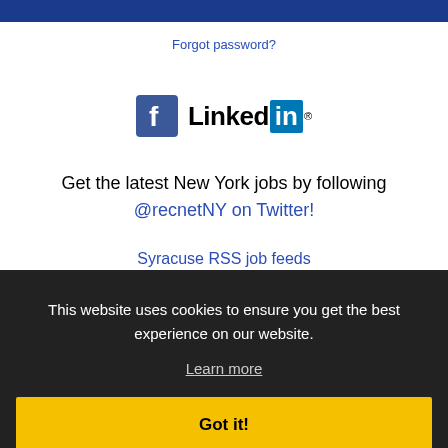Forgot password?
[Figure (logo): Facebook logo icon and LinkedIn logo side by side]
Get the latest New York jobs by following @recnetNY on Twitter!
Syracuse RSS job feeds
This website uses cookies to ensure you get the best experience on our website. Learn more Got it!
JOB SEEKERS
Search Syracuse jobs
Post your resume